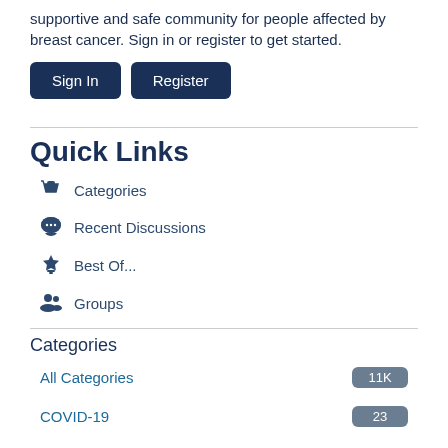supportive and safe community for people affected by breast cancer. Sign in or register to get started.
Sign In
Register
Quick Links
Categories
Recent Discussions
Best Of...
Groups
Categories
All Categories 11K
COVID-19 23